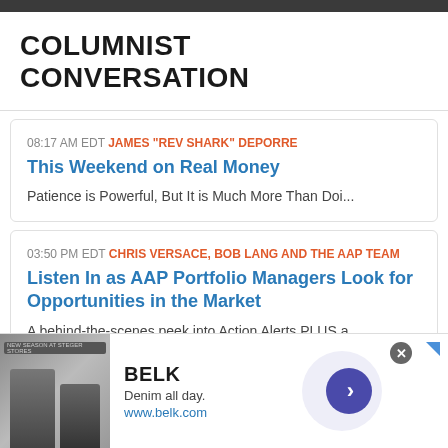COLUMNIST CONVERSATION
08:17 AM EDT JAMES "REV SHARK" DEPORRE — This Weekend on Real Money — Patience is Powerful, But It is Much More Than Doi...
03:50 PM EDT CHRIS VERSACE, BOB LANG AND THE AAP TEAM — Listen In as AAP Portfolio Managers Look for Opportunities in the Market — A behind-the-scenes peek into Action Alerts PLUS a...
03:44 PM EDT STEPHEN GUILFOYLE
[Figure (screenshot): Advertisement for BELK featuring denim clothing. Shows brand name BELK, tagline 'Denim all day.', URL www.belk.com, and an image of people in denim clothing.]